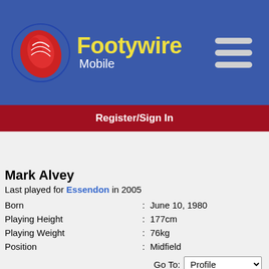[Figure (logo): Footywire Mobile logo with red football and yellow text]
Register/Sign In
Mark Alvey
Last played for Essendon in 2005
| Born | : | June 10, 1980 |
| Playing Height | : | 177cm |
| Playing Weight | : | 76kg |
| Position | : | Midfield |
Season 2005 Totals/Averages
| Stat | Total | Average |
| --- | --- | --- |
| Games | 6 | 6 |
| Kicks | 49 | 8.2 |